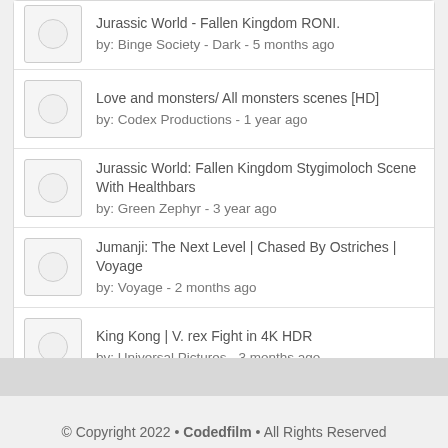Jurassic World - Fallen Kingdom RONI.
by: Binge Society - Dark - 5 months ago
Love and monsters/ All monsters scenes [HD]
by: Codex Productions - 1 year ago
Jurassic World: Fallen Kingdom Stygimoloch Scene With Healthbars
by: Green Zephyr - 3 year ago
Jumanji: The Next Level | Chased By Ostriches | Voyage
by: Voyage - 2 months ago
King Kong | V. rex Fight in 4K HDR
by: Universal Pictures - 3 months ago
© Copyright 2022 • Codedfilm • All Rights Reserved